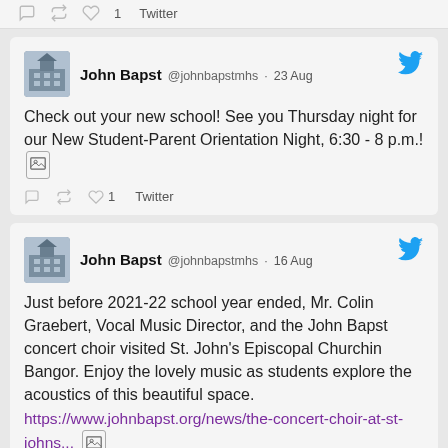[Figure (screenshot): Partial Twitter action bar showing reply, retweet, like icons and 'Twitter' link]
[Figure (screenshot): Tweet from John Bapst @johnbapstmhs dated 23 Aug: Check out your new school! See you Thursday night for our New Student-Parent Orientation Night, 6:30 - 8 p.m.! [image icon]. Twitter action bar below.]
[Figure (screenshot): Tweet from John Bapst @johnbapstmhs dated 16 Aug: Just before 2021-22 school year ended, Mr. Colin Graebert, Vocal Music Director, and the John Bapst concert choir visited St. John's Episcopal Churchin Bangor. Enjoy the lovely music as students explore the acoustics of this beautiful space. https://www.johnbapst.org/news/the-concert-choir-at-st-johns... [image icon]]